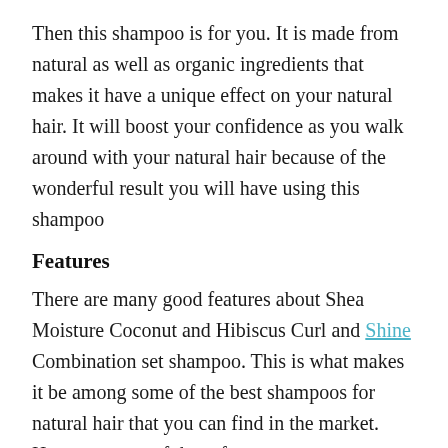Then this shampoo is for you. It is made from natural as well as organic ingredients that makes it have a unique effect on your natural hair. It will boost your confidence as you walk around with your natural hair because of the wonderful result you will have using this shampoo
Features
There are many good features about Shea Moisture Coconut and Hibiscus Curl and Shine Combination set shampoo. This is what makes it be among some of the best shampoos for natural hair that you can find in the market. Here are some of these features:
It contains natural ingredients such as coconut